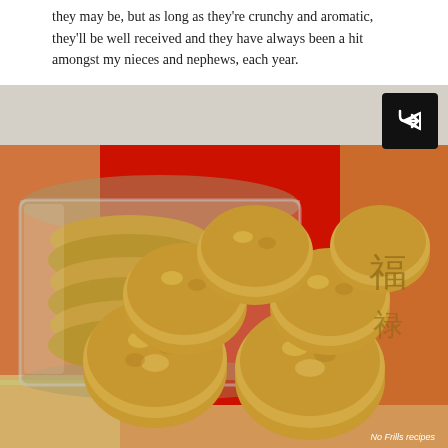they may be, but as long as they're crunchy and aromatic, they'll be well received and they have always been a hit amongst my nieces and nephews, each year.
[Figure (photo): Photo of golden crunchy cookies (likely cornflake cookies) arranged on a red Chinese New Year packet/envelope, with a glass jar full of cookies in the background. A share button icon is visible in the top right corner. Watermark reads 'No Frills recipes'.]